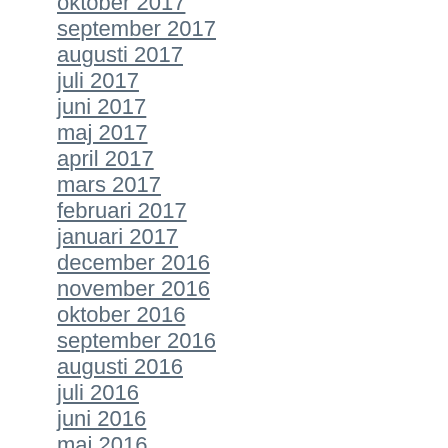oktober 2017
september 2017
augusti 2017
juli 2017
juni 2017
maj 2017
april 2017
mars 2017
februari 2017
januari 2017
december 2016
november 2016
oktober 2016
september 2016
augusti 2016
juli 2016
juni 2016
maj 2016
april 2016